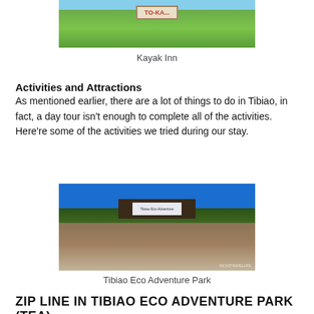[Figure (photo): Photo of a sign at Kayak Inn with green vegetation in the background]
Kayak Inn
Activities and Attractions
As mentioned earlier, there are a lot of things to do in Tibiao, in fact, a day tour isn't enough to complete all of the activities. Here're some of the activities we tried during our stay.
[Figure (photo): Photo of the entrance gate of Tibiao Eco Adventure Park with blue sky in the background]
Tibiao Eco Adventure Park
ZIP LINE IN TIBIAO ECO ADVENTURE PARK (TEA)